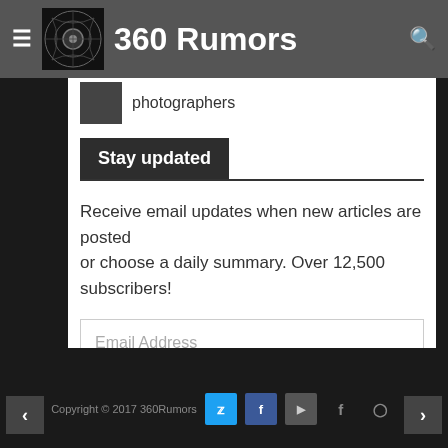360 Rumors
photographers
Stay updated
Receive email updates when new articles are posted or choose a daily summary. Over 12,500 subscribers!
Email Address
SUBSCRIBE
Copyright © 2017 360Rumors